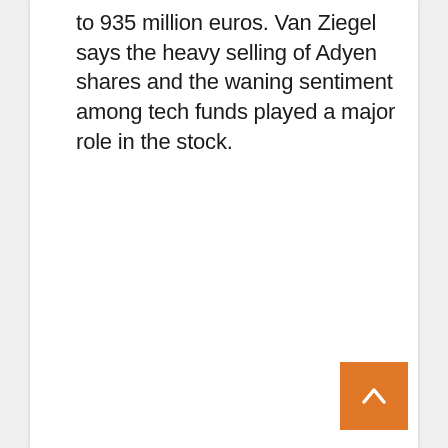to 935 million euros. Van Ziegel says the heavy selling of Adyen shares and the waning sentiment among tech funds played a major role in the stock.